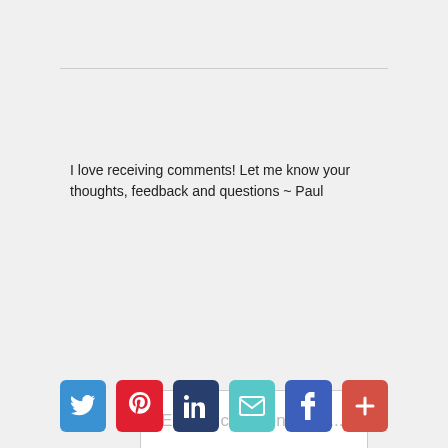I love receiving comments! Let me know your thoughts, feedback and questions ~ Paul
[Figure (screenshot): Comment text area input box with placeholder text 'Enter a comment here...' and a blue 'SUBMIT REPLY' button with chat bubble icon]
[Figure (infographic): Row of six social media share buttons: Twitter (blue), Pinterest (red), LinkedIn (dark blue), Email (teal), Facebook (blue), More/Plus (red)]